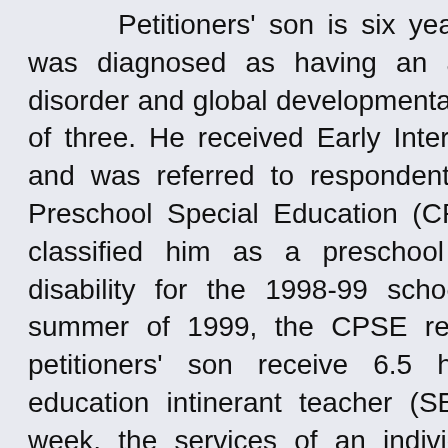Petitioners' son is six years old. The child was diagnosed as having an autistic spectrum disorder and global developmental delay at the age of three. He received Early Intervention Services, and was referred to respondent's Committee on Preschool Special Education (CPSE). The CPSE classified him as a preschool student with a disability for the 1998-99 school year. For the summer of 1999, the CPSE recommended that petitioners' son receive 6.5 hours of special education intinerant teacher (SEIT) services per week, the services of an individual aide for 41 hours per week, 7.5 hours of speech therapy per week, 3.5 hours of occupational therapy per week, and 4.74 hours of parent training per week, all services to be provided at the child's home (District Exhibit 4).